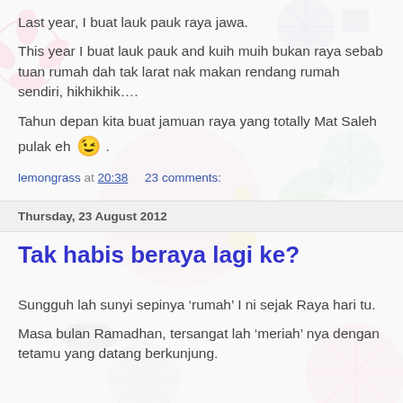Last year, I buat lauk pauk raya jawa.
This year I buat lauk pauk and kuih muih bukan raya sebab tuan rumah dah tak larat nak makan rendang rumah sendiri, hikhikhik….
Tahun depan kita buat jamuan raya yang totally Mat Saleh pulak eh 😉 .
lemongrass at 20:38    23 comments:
Thursday, 23 August 2012
Tak habis beraya lagi ke?
Sungguh lah sunyi sepinya ‘rumah’ I ni sejak Raya hari tu.
Masa bulan Ramadhan, tersangat lah ‘meriah’ nya dengan tetamu yang datang berkunjung.